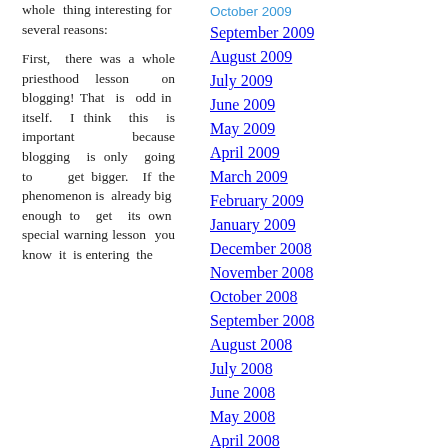whole thing interesting for several reasons: First, there was a whole priesthood lesson on blogging! That is odd in itself. I think this is important because blogging is only going to get bigger. If the phenomenon is already big enough to get its own special warning lesson you know it is entering the
October 2009
September 2009
August 2009
July 2009
June 2009
May 2009
April 2009
March 2009
February 2009
January 2009
December 2008
November 2008
October 2008
September 2008
August 2008
July 2008
June 2008
May 2008
April 2008
March 2008
February 2008
January 2008
December 2007
November 2007
October 2007
September 2007
August 2007
July 2007
June 2007
May 2007
April 2007
March 2007
February 2007
January 2007
December 2006
November 2006
October 2006
September 2006